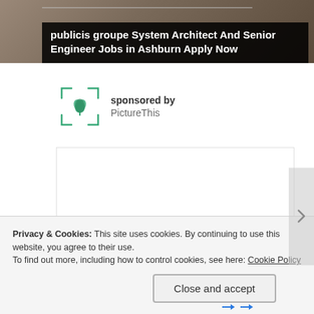[Figure (photo): Top portion of a webpage showing a banner photo of an office/desk scene with horizontal decorative lines, and a dark overlay box with ad text: 'publicis groupe System Architect And Senior Engineer Jobs in Ashburn Apply Now']
sponsored by
PictureThis
[Figure (other): White rectangular advertisement box with border]
Privacy & Cookies: This site uses cookies. By continuing to use this website, you agree to their use.
To find out more, including how to control cookies, see here: Cookie Policy
Close and accept